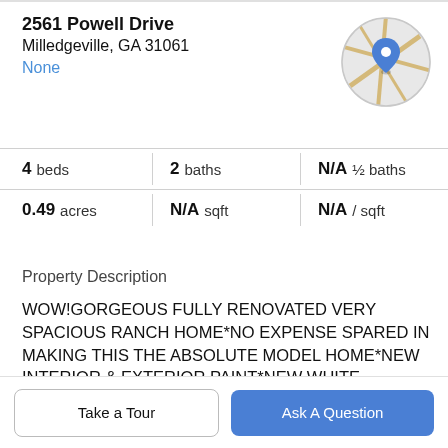2561 Powell Drive
Milledgeville, GA 31061
None
[Figure (map): Circular map thumbnail with a blue location pin marker, showing streets on a gray/tan background]
4 beds   2 baths   N/A ½ baths
0.49 acres   N/A sqft   N/A / sqft
Property Description
WOW!GORGEOUS FULLY RENOVATED VERY SPACIOUS RANCH HOME*NO EXPENSE SPARED IN MAKING THIS THE ABSOLUTE MODEL HOME*NEW INTERIOR & EXTERIOR PAINT*NEW WHITE KITCHEN WITH TILED BACK-SPLASH, QUARTZ COUNTERTOPS
Take a Tour   Ask A Question